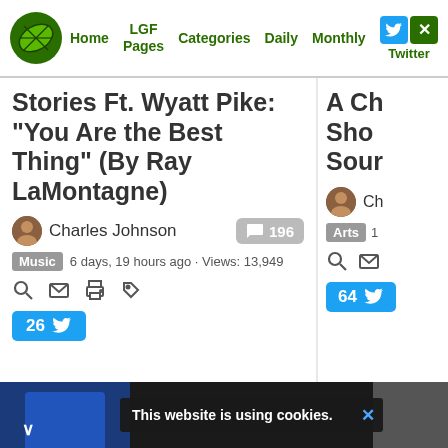Home | LGF Pages | Categories | Daily | Monthly | Twitter
Stories Ft. Wyatt Pike: “You Are the Best Thing” (By Ray LaMontagne)
Charles Johnson  196  Music  6 days, 19 hours ago · Views: 13,949  26
[Figure (screenshot): Cookie notice banner: 'This website is using cookies.' with X close button]
8 CPT mistakes to avoid
8 medical coding mistakes that could cost you AMA
Learn More